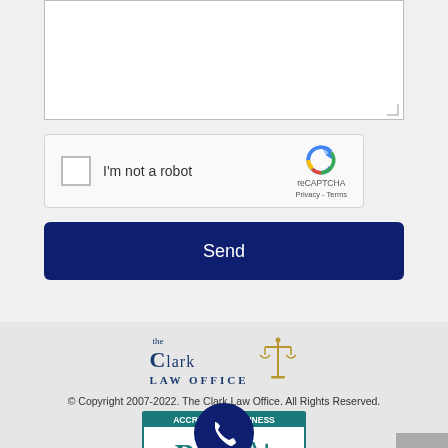[Figure (screenshot): Text area input box (white, bordered, resizable)]
[Figure (screenshot): reCAPTCHA widget with checkbox labeled 'I'm not a robot' and reCAPTCHA logo with Privacy - Terms links]
[Figure (screenshot): Dark navy blue 'Send' button]
[Figure (logo): The Clark Law Office logo with scales of justice icon in gold and law firm name in dark blue serif font]
© Copyright 2007-2022. The Clark Law Office. All Rights Reserved.
[Figure (screenshot): BBB A+ Rating badge and phone call button overlay, scroll-to-top button]